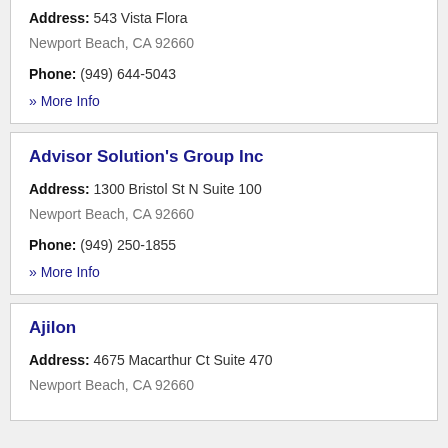Address: 543 Vista Flora Newport Beach, CA 92660
Phone: (949) 644-5043
» More Info
Advisor Solution's Group Inc
Address: 1300 Bristol St N Suite 100 Newport Beach, CA 92660
Phone: (949) 250-1855
» More Info
Ajilon
Address: 4675 Macarthur Ct Suite 470 Newport Beach, CA 92660